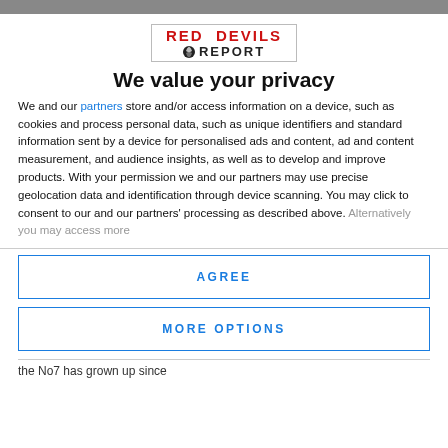[Figure (logo): Red Devils Report logo with red text and soccer ball icon]
We value your privacy
We and our partners store and/or access information on a device, such as cookies and process personal data, such as unique identifiers and standard information sent by a device for personalised ads and content, ad and content measurement, and audience insights, as well as to develop and improve products. With your permission we and our partners may use precise geolocation data and identification through device scanning. You may click to consent to our and our partners' processing as described above. Alternatively you may access more
AGREE
MORE OPTIONS
the No7 has grown up since